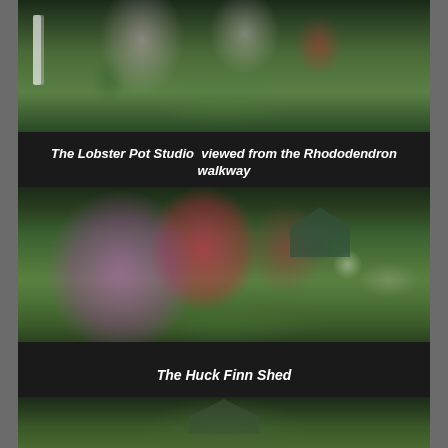[Figure (photo): Garden view of the Lobster Pot Studio seen from a rhododendron walkway, with blooming pink and white rhododendrons, a white post/lamp, lush green lawn, and a dark green house structure in the background.]
The Lobster Pot Studio  viewed from the Rhododendron walkway
[Figure (photo): Close-up view of blooming rhododendrons in purple/pink and red colors, with a dark green shed (Huck Finn Shed) visible in the background among lush green foliage.]
The Huck Finn Shed
[Figure (photo): Partial view of a third garden structure, showing roofline with a window, surrounded by trees and green foliage.]